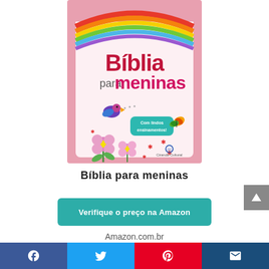[Figure (illustration): Book cover of 'Bíblia para meninas' (Bible for girls) with a rainbow at the top, pink background, colorful bird, butterfly, and flowers, with text 'Com lindos ensinamentos!' on a teal badge. Publisher: Ciranda Cultural.]
Bíblia para meninas
Verifique o preço na Amazon
Amazon.com.br
Free shipping